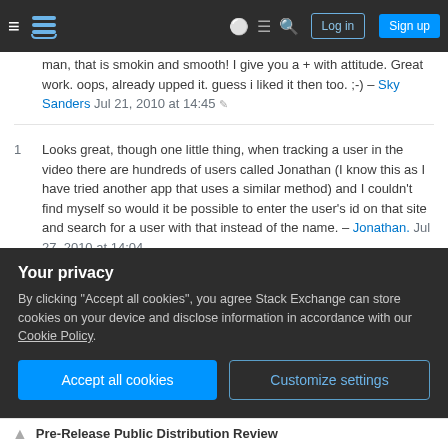Stack Exchange navigation bar with hamburger menu, logo, help, chat, search icons, Log in and Sign up buttons
man, that is smokin and smooth! I give you a + with attitude. Great work. oops, already upped it. guess i liked it then too. ;-) – Sky Sanders Jul 21, 2010 at 14:45
1 Looks great, though one little thing, when tracking a user in the video there are hundreds of users called Jonathan (I know this as I have tried another app that uses a similar method) and I couldn't find myself so would it be possible to enter the user's id on that site and search for a user with that instead of the name. – Jonathan. Jul 27, 2010 at 14:04
1 <Obligatory comment inquiring about iPhone 5 support> – Brant Oct 25, 2012 at 21:19
Your privacy
By clicking "Accept all cookies", you agree Stack Exchange can store cookies on your device and disclose information in accordance with our Cookie Policy.
Accept all cookies  Customize settings
Pre-Release Public Distribution Review